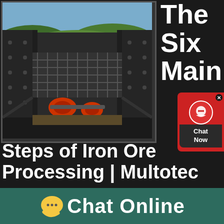[Figure (photo): Industrial iron ore processing machinery — a large vibrating screen or crusher seen from above/front, with red rollers/motors visible, set outdoors with hills in the background.]
The Six Main
Steps of Iron Ore Processing | Multotec
14/03/2018· This step involves breaking up the iron ore to obtain an F 80 grind size before it can be ground Once the ore has been crushed, it is diverted to a stockpile. The purpose of this step is to ensure that…
Chat Online